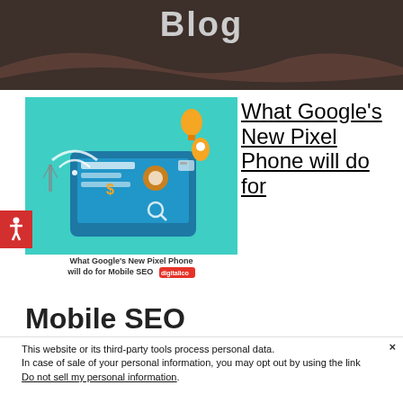Blog
[Figure (illustration): Illustration of digital marketing / mobile SEO showing a tablet with various digital icons, WiFi signal, gears, map pin on a teal background. Caption reads: What Google's New Pixel Phone will do for Mobile SEO with a Digitalico logo.]
What Google’s New Pixel Phone will do for Mobile SEO
Mobile SEO
This website or its third-party tools process personal data.
In case of sale of your personal information, you may opt out by using the link Do not sell my personal information.